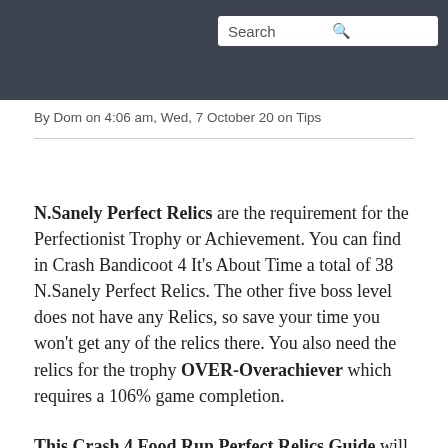Search
[Crash Bandicoot 4 Perfect Relics Guide]
By Dom on 4:06 am, Wed, 7 October 20 on Tips
N.Sanely Perfect Relics are the requirement for the Perfectionist Trophy or Achievement. You can find in Crash Bandicoot 4 It's About Time a total of 38 N.Sanely Perfect Relics. The other five boss level does not have any Relics, so save your time you won't get any of the relics there. You also need the relics for the trophy OVER-Overachiever which requires a 106% game completion.
This Crash 4 Food Run Perfect Relics Guide will show you a 100% walkthrough for the level Food Run including all Gems, hidden Gems, Crates and as well the N.Sanely Perfect Relic.